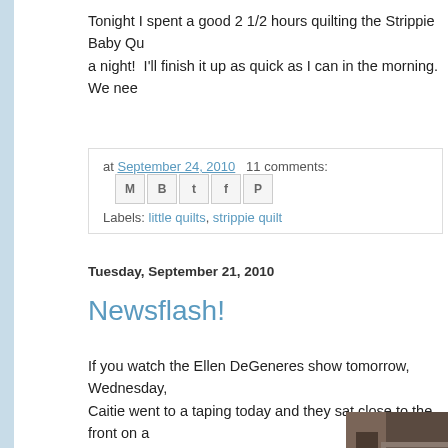Tonight I spent a good 2 1/2 hours quilting the Strippie Baby Qu... a night!  I'll finish it up as quick as I can in the morning.  We nee...
at September 24, 2010   11 comments:
Labels: little quilts, strippie quilt
Tuesday, September 21, 2010
Newsflash!
If you watch the Ellen DeGeneres show tomorrow, Wednesday... Caitie went to a taping today and they sat close to the front on a... induced embarrassed laughter on their part!).  The guests are B...
[Figure (photo): Partial view of a room interior, appears dark/brownish tones]